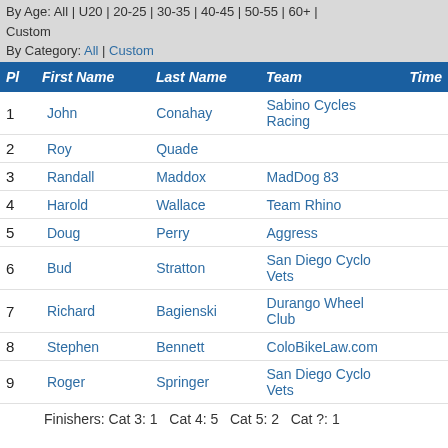By Age: All | U20 | 20-25 | 30-35 | 40-45 | 50-55 | 60+ | Custom
By Category: All | Custom
| Pl | First Name | Last Name | Team | Time |
| --- | --- | --- | --- | --- |
| 1 | John | Conahay | Sabino Cycles Racing |  |
| 2 | Roy | Quade |  |  |
| 3 | Randall | Maddox | MadDog 83 |  |
| 4 | Harold | Wallace | Team Rhino |  |
| 5 | Doug | Perry | Aggress |  |
| 6 | Bud | Stratton | San Diego Cyclo Vets |  |
| 7 | Richard | Bagienski | Durango Wheel Club |  |
| 8 | Stephen | Bennett | ColoBikeLaw.com |  |
| 9 | Roger | Springer | San Diego Cyclo Vets |  |
Finishers: Cat 3: 1  Cat 4: 5  Cat 5: 2  Cat ?: 1
Men masters 70+
Classes: All |
By Age: All | U20 | 20-30 | 30-30 | 40-49 | 50-59 | 60+ |